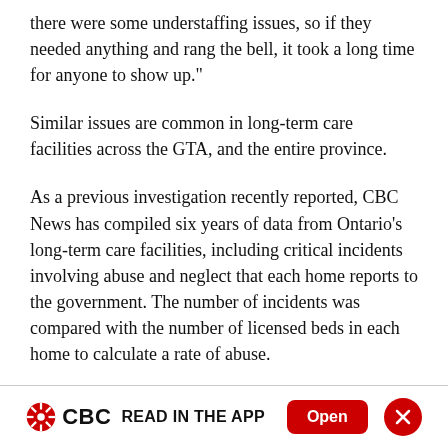there were some understaffing issues, so if they needed anything and rang the bell, it took a long time for anyone to show up."
Similar issues are common in long-term care facilities across the GTA, and the entire province.
As a previous investigation recently reported, CBC News has compiled six years of data from Ontario's long-term care facilities, including critical incidents involving abuse and neglect that each home reports to the government. The number of incidents was compared with the number of licensed beds in each home to calculate a rate of abuse.
CBC READ IN THE APP  Open